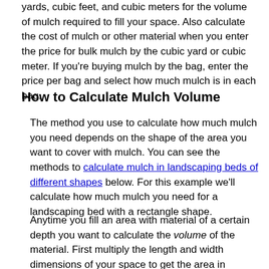yards, cubic feet, and cubic meters for the volume of mulch required to fill your space. Also calculate the cost of mulch or other material when you enter the price for bulk mulch by the cubic yard or cubic meter. If you're buying mulch by the bag, enter the price per bag and select how much mulch is in each bag.
How to Calculate Mulch Volume
The method you use to calculate how much mulch you need depends on the shape of the area you want to cover with mulch. You can see the methods to calculate mulch in landscaping beds of different shapes below. For this example we'll calculate how much mulch you need for a landscaping bed with a rectangle shape.
Anytime you fill an area with material of a certain depth you want to calculate the volume of the material. First multiply the length and width dimensions of your space to get the area in square feet. Then multiply the area by